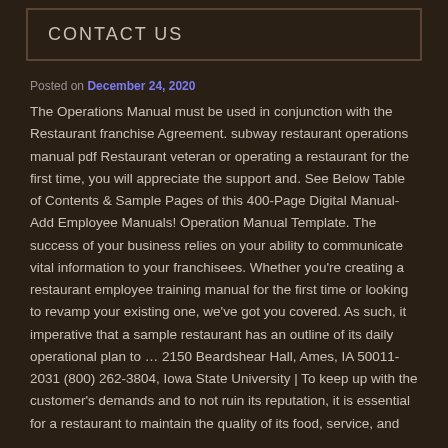CONTACT US
Posted on December 24, 2020
The Operations Manual must be used in conjunction with the Restaurant franchise Agreement. subway restaurant operations manual pdf Restaurant veteran or operating a restaurant for the first time, you will appreciate the support and. See Below Table of Contents & Sample Pages of this 400-Page Digital Manual-Add Employee Manuals! Operation Manual Template. The success of your business relies on your ability to communicate vital information to your franchisees. Whether you're creating a restaurant employee training manual for the first time or looking to revamp your existing one, we've got you covered. As such, it imperative that a sample restaurant has an outline of its daily operational plan to … 2150 Beardshear Hall, Ames, IA 50011-2031 (800) 262-3804, Iowa State University | To keep up with the customer's demands and to not ruin its reputation, it is essential for a restaurant to maintain the quality of its food, service, and